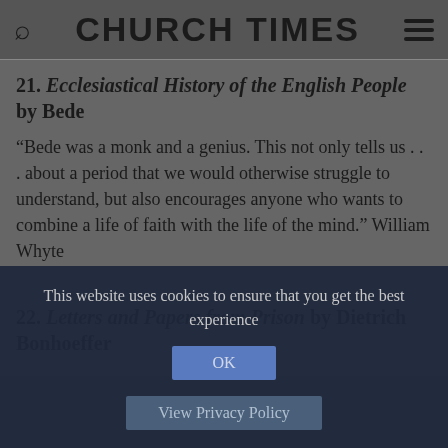CHURCH TIMES
21. Ecclesiastical History of the English People by Bede
“Bede was a monk and a genius. This not only tells us . . . about a period that we would otherwise struggle to understand, but also encourages anyone who wants to combine a life of faith with the life of the mind.” William Whyte
22. Letters and Papers from Prison by Dietrich Bonhoeffer
This website uses cookies to ensure that you get the best experience
OK
View Privacy Policy